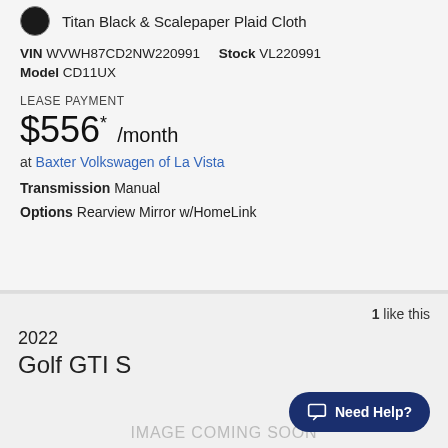Titan Black & Scalepaper Plaid Cloth
VIN WVWH87CD2NW220991   Stock VL220991
Model CD11UX
LEASE PAYMENT
$556* /month
at Baxter Volkswagen of La Vista
Transmission Manual
Options Rearview Mirror w/HomeLink
1 like this
2022
Golf GTI S
[Figure (other): IMAGE COMING SOON placeholder area]
Need Help?